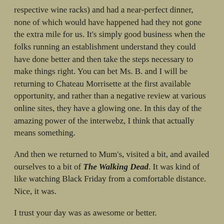respective wine racks) and had a near-perfect dinner, none of which would have happened had they not gone the extra mile for us. It's simply good business when the folks running an establishment understand they could have done better and then take the steps necessary to make things right. You can bet Ms. B. and I will be returning to Chateau Morrisette at the first available opportunity, and rather than a negative review at various online sites, they have a glowing one. In this day of the amazing power of the interwebz, I think that actually means something.
And then we returned to Mum's, visited a bit, and availed ourselves to a bit of The Walking Dead. It was kind of like watching Black Friday from a comfortable distance. Nice, it was.
I trust your day was as awesome or better.
[Figure (photo): A misty winter forest scene showing bare trees and a rocky, leaf-covered ground. Two panels side by side showing similar woodland scenery in overcast/foggy conditions.]